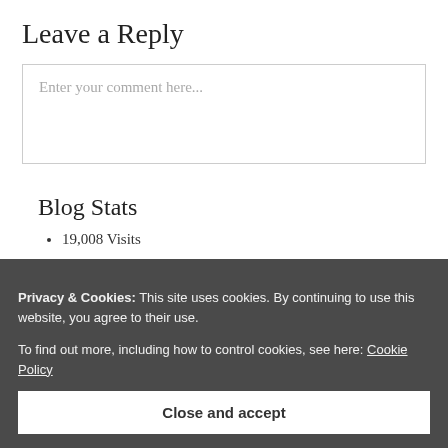Leave a Reply
Enter your comment here...
Blog Stats
19,008 Visits
Privacy & Cookies: This site uses cookies. By continuing to use this website, you agree to their use.
To find out more, including how to control cookies, see here: Cookie Policy
Close and accept